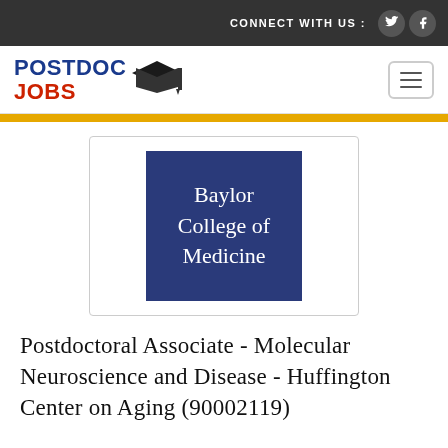CONNECT WITH US :
[Figure (logo): PostDoc Jobs logo with graduation cap icon]
[Figure (logo): Baylor College of Medicine logo - dark navy blue square with white serif text]
Postdoctoral Associate - Molecular Neuroscience and Disease - Huffington Center on Aging (90002119)